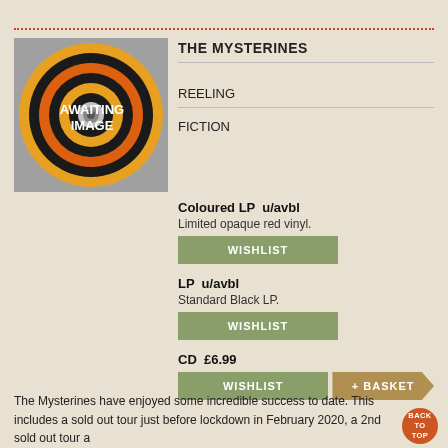[Figure (illustration): Vinyl record album cover placeholder with concentric circles in orange, black and grey with text 'AWAITING IMAGE']
THE MYSTERINES
REELING
FICTION
Coloured LP  u/avbl
Limited opaque red vinyl.
WISHLIST
LP  u/avbl
Standard Black LP.
WISHLIST
CD  £6.99
WISHLIST
+ BASKET
The Mysterines have enjoyed some incredible success to date. This includes a sold out tour just before lockdown in February 2020, a 2nd sold out tour a